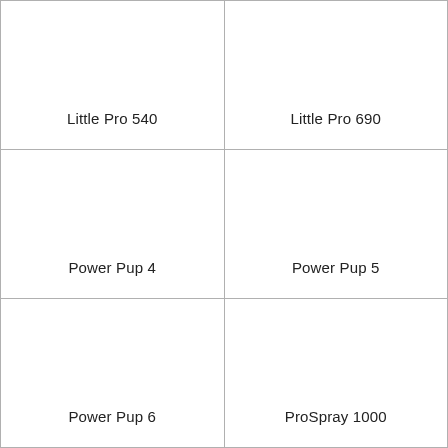| Little Pro 540 | Little Pro 690 |
| Power Pup 4 | Power Pup 5 |
| Power Pup 6 | ProSpray 1000 |